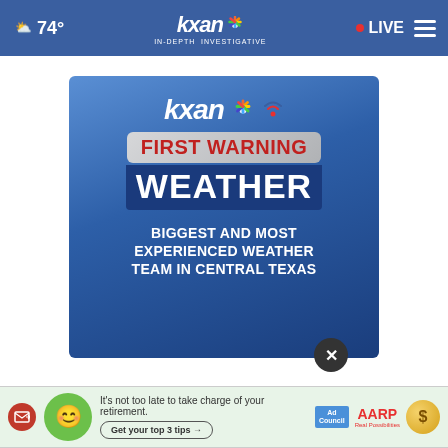KXAN – 74° – IN-DEPTH INVESTIGATIVE – LIVE
[Figure (logo): KXAN First Warning Weather advertisement: blue background, KXAN logo with NBC peacock, 'FIRST WARNING WEATHER' in red and white text, 'BIGGEST AND MOST EXPERIENCED WEATHER TEAM IN CENTRAL TEXAS' in white bold text]
[Figure (infographic): AARP retirement ad banner: green mascot face, text 'It's not too late to take charge of your retirement. Get your top 3 tips', Ad Council logo, AARP logo, coin icon]